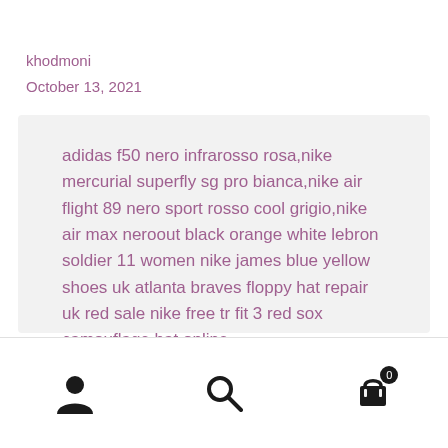khodmoni
October 13, 2021
adidas f50 nero infrarosso rosa,nike mercurial superfly sg pro bianca,nike air flight 89 nero sport rosso cool grigio,nike air max neroout black orange white lebron soldier 11 women nike james blue yellow shoes uk atlanta braves floppy hat repair uk red sale nike free tr fit 3 red sox camouflage hat online
navigation icons: user, search, cart (0)